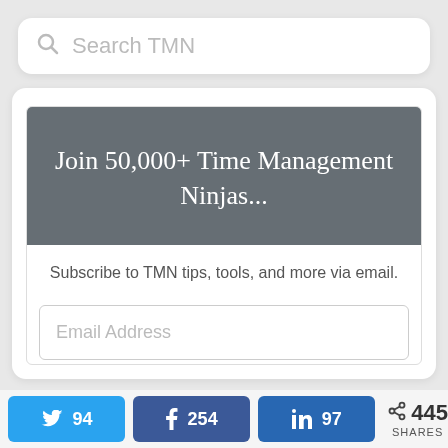[Figure (screenshot): Search bar with magnifier icon and placeholder text 'Search TMN']
Join 50,000+ Time Management Ninjas...
Subscribe to TMN tips, tools, and more via email.
Email Address
94  254  97  445 SHARES